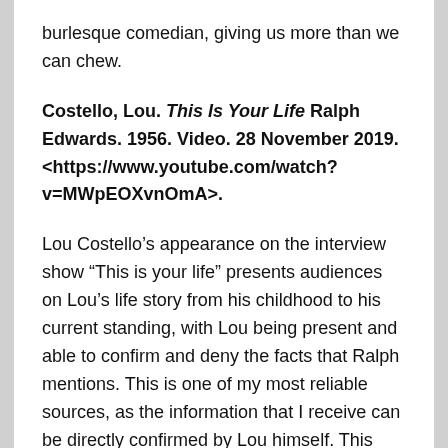burlesque comedian, giving us more than we can chew.
Costello, Lou. This Is Your Life Ralph Edwards. 1956. Video. 28 November 2019. <https://www.youtube.com/watch?v=MWpEOXvnOmA>.
Lou Costello’s appearance on the interview show “This is your life” presents audiences on Lou’s life story from his childhood to his current standing, with Lou being present and able to confirm and deny the facts that Ralph mentions. This is one of my most reliable sources, as the information that I receive can be directly confirmed by Lou himself. This